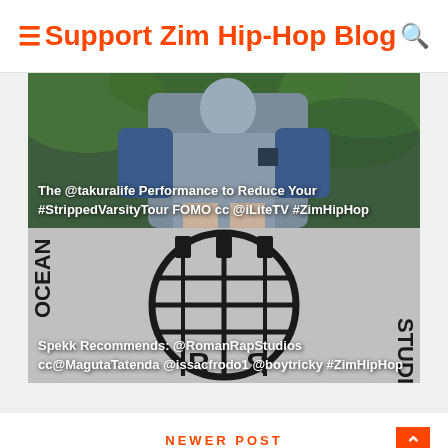Support Zim Hip-Hop Blog
[Figure (photo): Person in grey and blue outfit outdoors, green foliage background. Text overlay: 'The @takuralife Performance to Reduce Your #StrippedVarsityTour FOMO cc @iLiteTV #ZimHipHop']
[Figure (logo): Roman Rap Studios logo - circular globe with guitar silhouettes, black on grey background. Text overlay: 'Spekk Recommends: @RomanRapStudios cc@MagutaTatenda @issacfrodo1 @boytricky #ZimHipHop']
NEWER POST